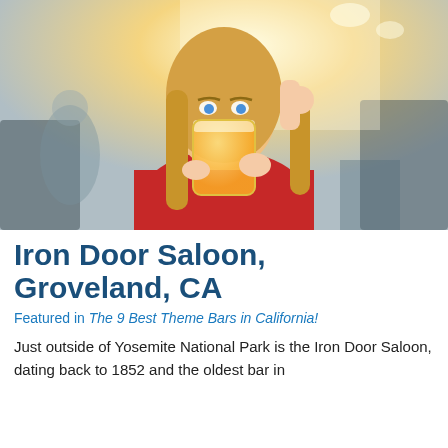[Figure (photo): A young woman with long blonde hair wearing a red top drinking from a glass of beer, with a blurred bar/restaurant background with warm sunlight.]
Iron Door Saloon, Groveland, CA
Featured in The 9 Best Theme Bars in California!
Just outside of Yosemite National Park is the Iron Door Saloon, dating back to 1852 and the oldest bar in